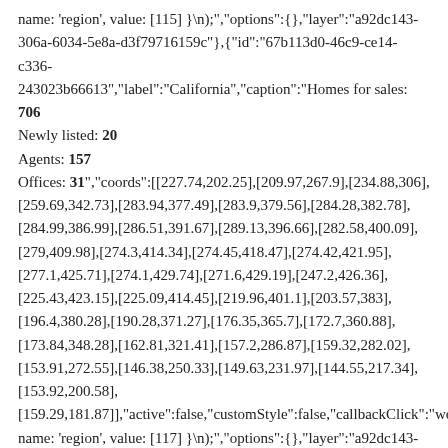name: 'region', value: [115] }\n);","options":{},"layer":"a92dc143-306a-6034-5e8a-d3f79716159c"},{"id":"67b113d0-46c9-ce14-c336-243023b66613","label":"California","caption":"Homes for sales: 706
Newly listed: 20
Agents: 157
Offices: 31","coords":[[227.74,202.25],[209.97,267.9],[234.88,306],[259.69,342.73],[283.94,377.49],[283.9,379.56],[284.28,382.78],[284.99,386.99],[286.51,391.67],[289.13,396.66],[282.58,400.09],[279,409.98],[274.3,414.34],[274.45,418.47],[274.42,421.95],[277.1,425.71],[274.1,429.74],[271.6,429.19],[247.2,426.36],[225.43,423.15],[225.09,414.45],[219.96,401.1],[203.57,383],[196.4,380.28],[190.28,371.27],[176.35,365.7],[172.7,360.88],[173.84,348.28],[162.81,321.41],[157.2,286.87],[159.32,282.02],[153.91,272.55],[146.38,250.33],[149.63,231.97],[144.55,217.34],[153.92,200.58],[159.29,181.87]],"active":false,"customStyle":false,"callbackClick":"we name: 'region', value: [117] }\n);","options":{},"layer":"a92dc143-306a-6034-5e8a-d3f79716159c"},{"id":"7d0d6855-2cae-86db-0f72-b1 92f5272 82","label":"Colorado","caption":"[[524.36,307.34]